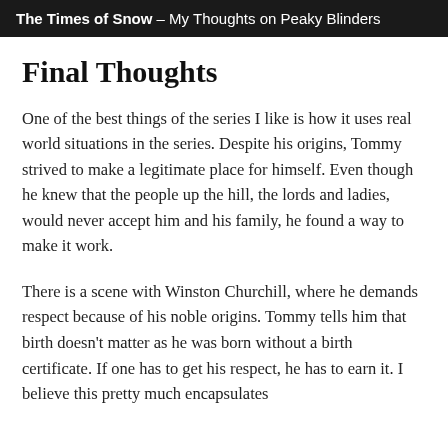The Times of Snow – My Thoughts on Peaky Blinders
Final Thoughts
One of the best things of the series I like is how it uses real world situations in the series. Despite his origins, Tommy strived to make a legitimate place for himself. Even though he knew that the people up the hill, the lords and ladies, would never accept him and his family, he found a way to make it work.
There is a scene with Winston Churchill, where he demands respect because of his noble origins. Tommy tells him that birth doesn't matter as he was born without a birth certificate. If one has to get his respect, he has to earn it. I believe this pretty much encapsulates